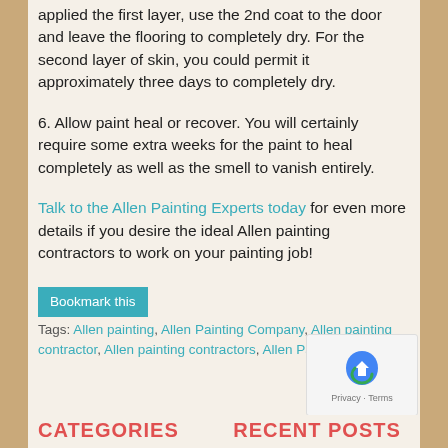applied the first layer, use the 2nd coat to the door and leave the flooring to completely dry. For the second layer of skin, you could permit it approximately three days to completely dry.
6. Allow paint heal or recover. You will certainly require some extra weeks for the paint to heal completely as well as the smell to vanish entirely.
Talk to the Allen Painting Experts today for even more details if you desire the ideal Allen painting contractors to work on your painting job!
Bookmark this  Tags: Allen painting, Allen Painting Company, Allen painting contractor, Allen painting contractors, Allen Painting Experts
CATEGORIES
RECENT POSTS